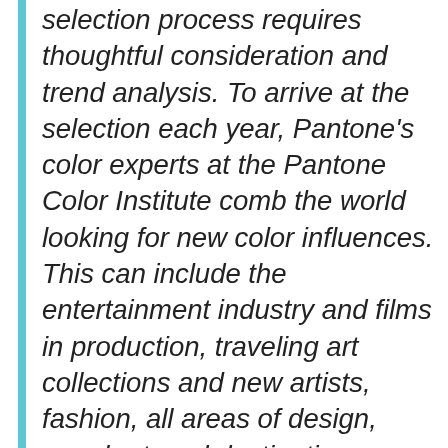selection process requires thoughtful consideration and trend analysis. To arrive at the selection each year, Pantone's color experts at the Pantone Color Institute comb the world looking for new color influences. This can include the entertainment industry and films in production, traveling art collections and new artists, fashion, all areas of design, popular travel destinations, as well as new lifestyles, playstyles, and socio-economic conditions. Influences may also stem from new technologies, materials, textures, and effects that impact color, relevant social media platforms and even upcoming sporting events that